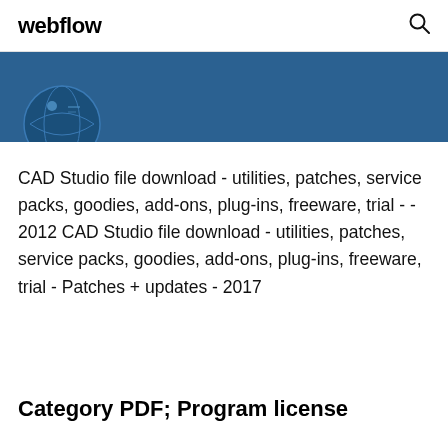webflow
[Figure (illustration): Dark blue banner with partial illustration of a globe/figure in the lower left corner]
CAD Studio file download - utilities, patches, service packs, goodies, add-ons, plug-ins, freeware, trial - - 2012 CAD Studio file download - utilities, patches, service packs, goodies, add-ons, plug-ins, freeware, trial - Patches + updates - 2017
Category PDF; Program license